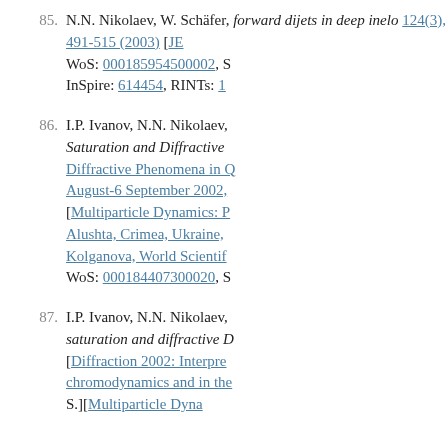85. N.N. Nikolaev, W. Schäfer, forward dijets in deep inelastic... 124(3), 491-515 (2003) [JE... WoS: 000185954500002, S... InSpire: 614454, RINTs: 1...
86. I.P. Ivanov, N.N. Nikolaev, Saturation and Diffractive... Diffractive Phenomena in Q... August-6 September 2002,... [Multiparticle Dynamics: P... Alushta, Crimea, Ukraine,... Kolganova, World Scientif... WoS: 000184407300020, S...
87. I.P. Ivanov, N.N. Nikolaev, saturation and diffractive D... [Diffraction 2002: Interpre... chromodynamics and in the... S.][Multiparticle Dynami...